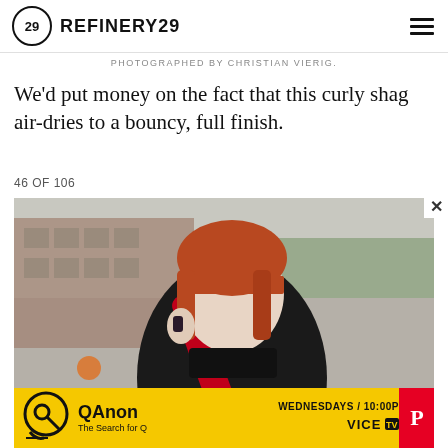REFINERY29
PHOTOGRAPHED BY CHRISTIAN VIERIG.
We'd put money on the fact that this curly shag air-dries to a bouncy, full finish.
46 OF 106
[Figure (photo): Street style photo of a woman with auburn straight hair and blunt bangs, wearing a black jacket with a red lightning bolt shoulder bag, holding her hand to her ear, outdoors with blurred urban background]
[Figure (other): Advertisement for QAnon: The Search for Q on VICE TV - Wednesdays 10:00P, shown on yellow background with QAnon logo]